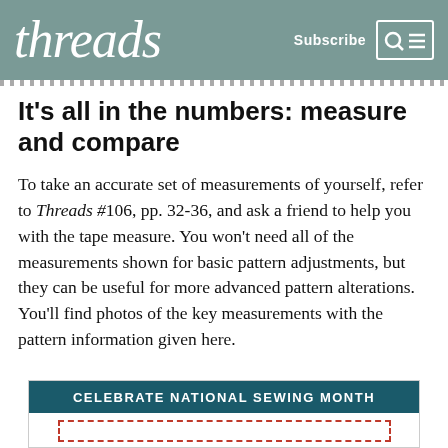threads
It's all in the numbers: measure and compare
To take an accurate set of measurements of yourself, refer to Threads #106, pp. 32-36, and ask a friend to help you with the tape measure. You won't need all of the measurements shown for basic pattern adjustments, but they can be useful for more advanced pattern alterations. You'll find photos of the key measurements with the pattern information given here.
[Figure (infographic): Banner advertisement for 'Celebrate National Sewing Month' with teal header and dashed red border box below]